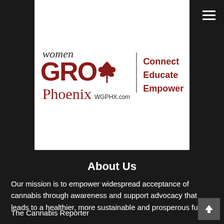[Figure (logo): Women Grow Phoenix logo with cannabis leaf. Text reads: 'women GROw Phoenix' with tagline 'Connect Educate Empower' and URL 'WGPHX.com']
About Us
Our mission is to empower widespread acceptance of cannabis through awareness and support advocacy that leads to a healthier, more sustainable and prosperous future.
The Cannabis Reporter